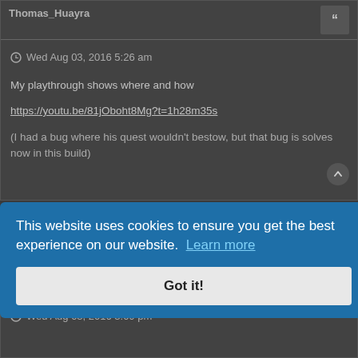Thomas_Huayra
Wed Aug 03, 2016 5:26 am
My playthrough shows where and how
https://youtu.be/81jOboht8Mg?t=1h28m35s
(I had a bug where his quest wouldn't bestow, but that bug is solves now in this build)
paddymaxson
Wed Aug 03, 2016 3:09 pm
This website uses cookies to ensure you get the best experience on our website.  Learn more
Got it!